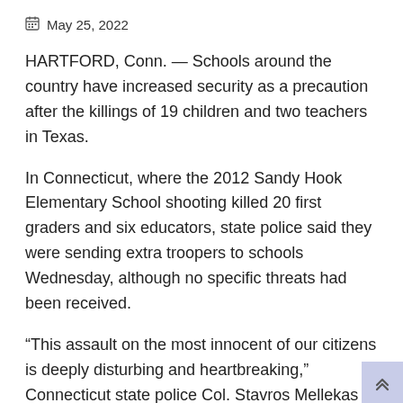May 25, 2022
HARTFORD, Conn. — Schools around the country have increased security as a precaution after the killings of 19 children and two teachers in Texas.
In Connecticut, where the 2012 Sandy Hook Elementary School shooting killed 20 first graders and six educators, state police said they were sending extra troopers to schools Wednesday, although no specific threats had been received.
“This assault on the most innocent of our citizens is deeply disturbing and heartbreaking,” Connecticut state police Col. Stavros Mellekas said in a statement. “At this time, our focus will be on protecting all school populations here in our state.”